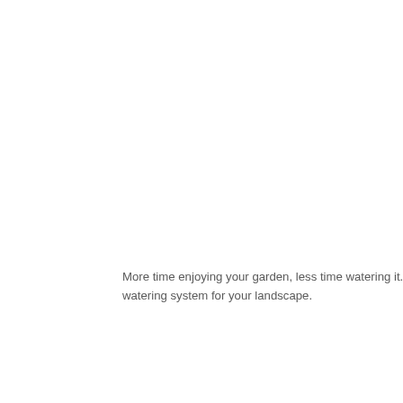More time enjoying your garden, less time watering it. Raindrip is an automatic, precision watering system for your landscape.
Make installation tubing in the s place the end for 3 minutes t
Half inch, five eights and 0.710 tubing is considered the main supply tubing. Quarter inch tubing is used primarily as
Pressure comp dispense wate hour regardles